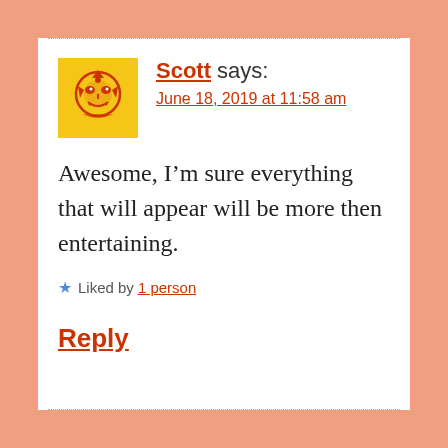[Figure (illustration): Yellow square avatar with orange illustrated face/character icon (Gundam-style face mascot)]
Scott says:
June 18, 2019 at 11:58 am
Awesome, I’m sure everything that will appear will be more then entertaining.
★ Liked by 1 person
Reply